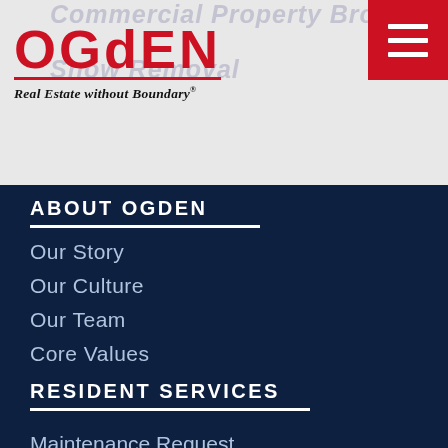Commercial Property Brokerage / Snow Removal
[Figure (logo): Ogden Real Estate without Boundary logo with red text and underline]
ABOUT OGDEN
Our Story
Our Culture
Our Team
Core Values
RESIDENT SERVICES
Maintenance Request
Online Rental Payments
Pl...